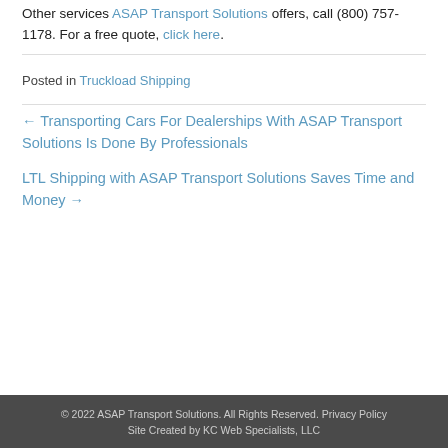Other services ASAP Transport Solutions offers, call (800) 757-1178. For a free quote, click here.
Posted in Truckload Shipping
← Transporting Cars For Dealerships With ASAP Transport Solutions Is Done By Professionals
LTL Shipping with ASAP Transport Solutions Saves Time and Money →
© 2022 ASAP Transport Solutions. All Rights Reserved. Privacy Policy
Site Created by KC Web Specialists, LLC